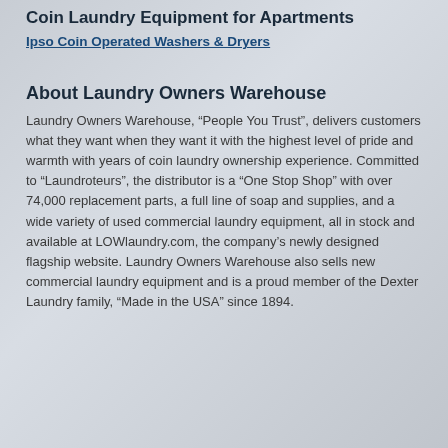Coin Laundry Equipment for Apartments
Ipso Coin Operated Washers & Dryers
About Laundry Owners Warehouse
Laundry Owners Warehouse, “People You Trust”, delivers customers what they want when they want it with the highest level of pride and warmth with years of coin laundry ownership experience. Committed to “Laundroteurs”, the distributor is a “One Stop Shop” with over 74,000 replacement parts, a full line of soap and supplies, and a wide variety of used commercial laundry equipment, all in stock and available at LOWlaundry.com, the company’s newly designed flagship website. Laundry Owners Warehouse also sells new commercial laundry equipment and is a proud member of the Dexter Laundry family, “Made in the USA” since 1894.